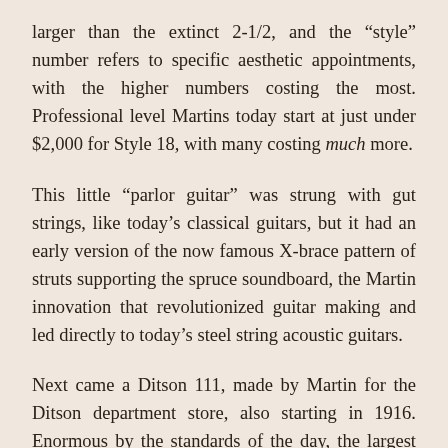larger than the extinct 2-1/2, and the “style” number refers to specific aesthetic appointments, with the higher numbers costing the most. Professional level Martins today start at just under $2,000 for Style 18, with many costing much more.
This little “parlor guitar” was strung with gut strings, like today’s classical guitars, but it had an early version of the now famous X-brace pattern of struts supporting the spruce soundboard, the Martin innovation that revolutionized guitar making and led directly to today’s steel string acoustic guitars.
Next came a Ditson 111, made by Martin for the Ditson department store, also starting in 1916. Enormous by the standards of the day, the largest Ditson models